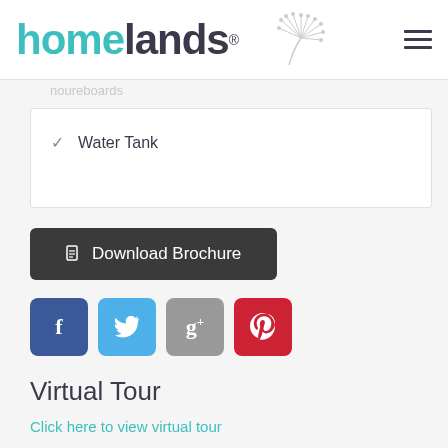homelands
Water Tank
Download Brochure
[Figure (infographic): Social media share buttons: Facebook (blue), Twitter (light blue), Google+ (grey), Pinterest (red)]
Virtual Tour
Click here to view virtual tour